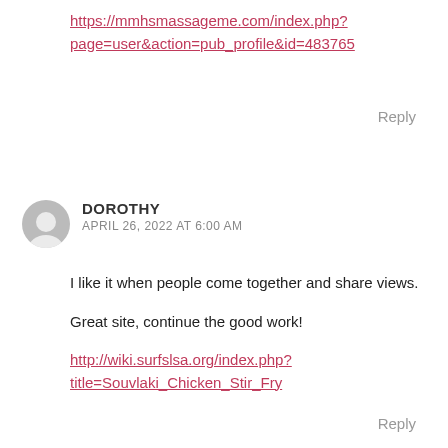https://mmhsmassageme.com/index.php?page=user&action=pub_profile&id=483765
Reply
DOROTHY
APRIL 26, 2022 AT 6:00 AM
I like it when people come together and share views.
Great site, continue the good work!
http://wiki.surfslsa.org/index.php?title=Souvlaki_Chicken_Stir_Fry
Reply